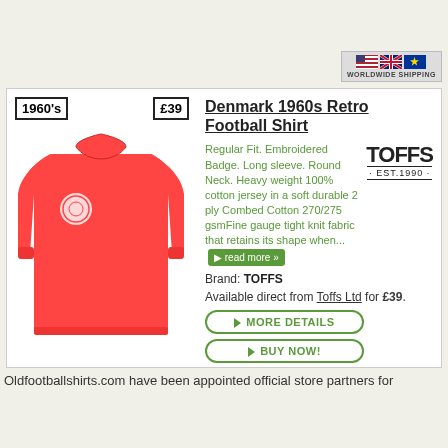[Figure (other): Worldwide shipping badge with US, UK, and EU flags]
[Figure (photo): Red Denmark 1960s retro football shirt with white embroidered badge, long sleeve, round neck]
Denmark 1960s Retro Football Shirt
Regular Fit. Embroidered Badge. Long sleeve. Round Neck. Heavy weight 100% cotton jersey in a soft durable 2 ply Combed Cotton 270/275 gsmFine gauge tight knit fabric that retains its shape when... read more »
[Figure (logo): TOFFS logo - EST.1990]
Brand: TOFFS
Available direct from Toffs Ltd for £39.
MORE DETAILS
BUY NOW!
[Figure (other): Worldwide shipping badge with US, UK, and EU flags]
Oldfootballshirts.com have been appointed official store partners for